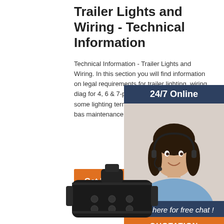Trailer Lights and Wiring - Technical Information
Technical Information - Trailer Lights and Wiring. In this section you will find information on legal requirements for trailer lighting, wiring diagrams for 4, 6 & 7-pole systems, as well as some lighting terminology. Some of the most basic maintenance practices can …
[Figure (other): Orange 'Get Price' button]
[Figure (photo): 24/7 Online chat widget with a customer service representative wearing a headset, dark navy header saying '24/7 Online', italic text 'Click here for free chat!', and an orange 'QUOTATION' button at the bottom]
[Figure (photo): Black trailer electrical connector plug component, viewed from above, plastic body with pins]